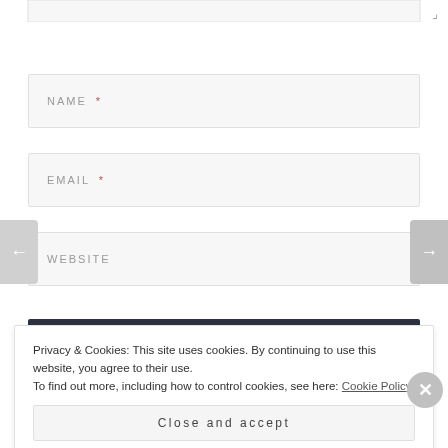[Figure (screenshot): Resize handle icon in top-right corner of a text area]
NAME *
EMAIL *
WEBSITE
Privacy & Cookies: This site uses cookies. By continuing to use this website, you agree to their use.
To find out more, including how to control cookies, see here: Cookie Policy
Close and accept